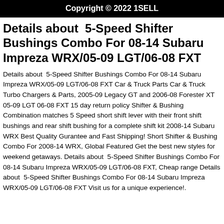Copyright © 2022 1SELL
Details about  5-Speed Shifter Bushings Combo For 08-14 Subaru Impreza WRX/05-09 LGT/06-08 FXT
Details about  5-Speed Shifter Bushings Combo For 08-14 Subaru Impreza WRX/05-09 LGT/06-08 FXT Car & Truck Parts Car & Truck Turbo Chargers & Parts, 2005-09 Legacy GT and 2006-08 Forester XT 05-09 LGT 06-08 FXT 15 day return policy Shifter & Bushing Combination matches 5 Speed short shift lever with their front shift bushings and rear shift bushing for a complete shift kit 2008-14 Subaru WRX Best Quality Gurantee and Fast Shipping! Short Shifter & Bushing Combo For 2008-14 WRX, Global Featured Get the best new styles for weekend getaways. Details about  5-Speed Shifter Bushings Combo For 08-14 Subaru Impreza WRX/05-09 LGT/06-08 FXT, Cheap range Details about  5-Speed Shifter Bushings Combo For 08-14 Subaru Impreza WRX/05-09 LGT/06-08 FXT Visit us for a unique experience!.